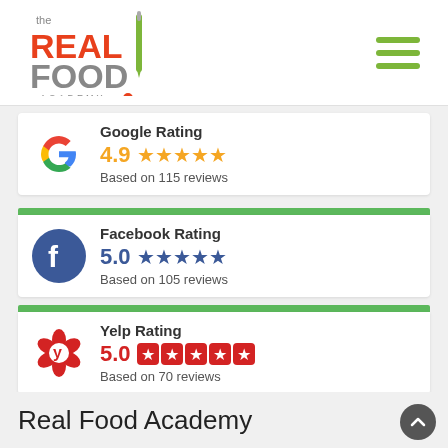[Figure (logo): The Real Food Academy logo with knife graphic]
Google Rating
4.9 ★★★★★
Based on 115 reviews
Facebook Rating
5.0 ★★★★★
Based on 105 reviews
Yelp Rating
5.0 ★★★★★
Based on 70 reviews
Real Food Academy